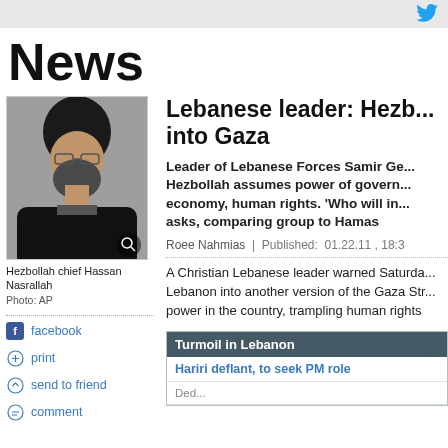News
[Figure (photo): Photo of Hezbollah chief Hassan Nasrallah, a bearded man in black clerical attire and glasses, seated. Photo credit: AP]
Hezbollah chief Hassan Nasrallah
Photo: AP
facebook
print
send to friend
comment
Lebanese leader: Hezb... into Gaza
Leader of Lebanese Forces Samir Ge... Hezbollah assumes power of govern... economy, human rights. 'Who will in... asks, comparing group to Hamas
Roee Nahmias | Published: 01.22.11 , 18:3
A Christian Lebanese leader warned Saturda... Lebanon into another version of the Gaza Str... power in the country, trampling human rights
Turmoil in Lebanon
Hariri deflant, to seek PM role